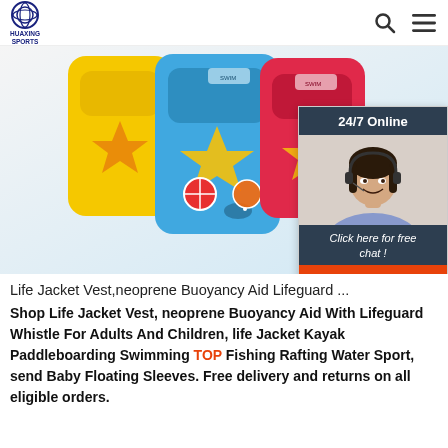HUAXING SPORTS
[Figure (photo): Colorful children's life jacket vests displayed together — yellow, blue, and red/pink with starfish and beach ball designs]
[Figure (photo): 24/7 Online chat widget showing a customer service representative wearing a headset, with 'Click here for free chat!' text and an orange QUOTATION button]
Life Jacket Vest,neoprene Buoyancy Aid Lifeguard ...
Shop Life Jacket Vest, neoprene Buoyancy Aid With Lifeguard Whistle For Adults And Children, life Jacket Kayak Paddleboarding Swimming Fishing Rafting Water Sport, send Baby Floating Sleeves. Free delivery and returns on all eligible orders.